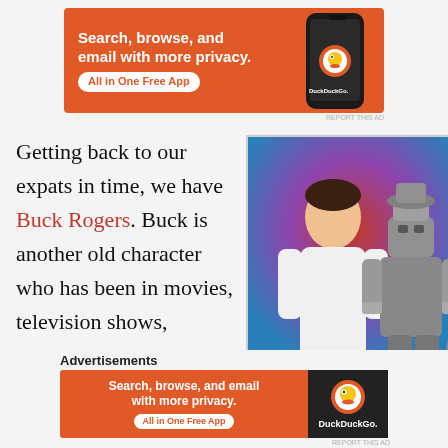[Figure (infographic): DuckDuckGo advertisement banner with orange background. Text: 'Search, browse, and email with more privacy. All in One Free App'. Shows a smartphone and DuckDuckGo logo.]
REPORT THIS AD
Getting back to our expats in time, we have Buck Rogers. Buck is another old character who has been in movies, television shows, comics, and even
[Figure (photo): Photo of a man in a white jumpsuit (Buck Rogers) sitting next to a small silver robot character, against a colorful background.]
Advertisements
[Figure (infographic): DuckDuckGo advertisement banner (smaller). Text: 'Search, browse, and email with more privacy. All in One Free App'. Shows DuckDuckGo logo on dark background.]
REPORT THIS AD